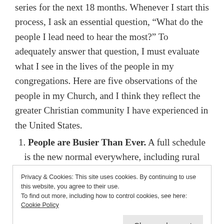series for the next 18 months. Whenever I start this process, I ask an essential question, “What do the people I lead need to hear the most?” To adequately answer that question, I must evaluate what I see in the lives of the people in my congregations. Here are five observations of the people in my Church, and I think they reflect the greater Christian community I have experienced in the United States.
1. People are Busier Than Ever. A full schedule is the new normal everywhere, including rural
Privacy & Cookies: This site uses cookies. By continuing to use this website, you agree to their use. To find out more, including how to control cookies, see here: Cookie Policy
using their time wisely and especially for God’s